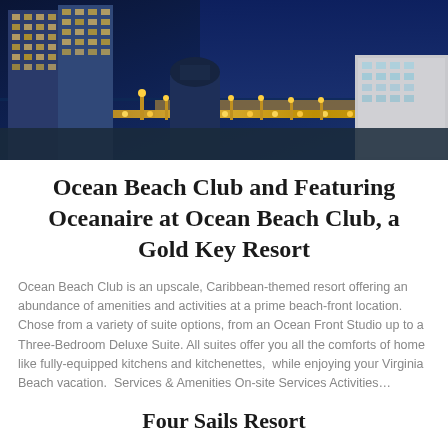[Figure (photo): Aerial night view of Ocean Beach Club resort with tall buildings illuminated against dark blue sky, beach boardwalk with yellow lights visible, ocean in background]
Ocean Beach Club and Featuring Oceanaire at Ocean Beach Club, a Gold Key Resort
Ocean Beach Club is an upscale, Caribbean-themed resort offering an abundance of amenities and activities at a prime beach-front location. Chose from a variety of suite options, from an Ocean Front Studio up to a Three-Bedroom Deluxe Suite. All suites offer you all the comforts of home like fully-equipped kitchens and kitchenettes,  while enjoying your Virginia Beach vacation.  Services & Amenities On-site Services Activities…
Four Sails Resort